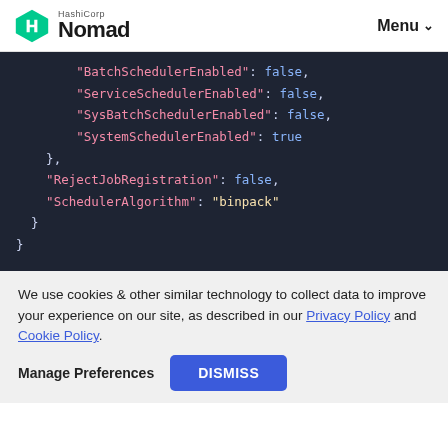HashiCorp Nomad — Menu
[Figure (screenshot): Code block showing JSON configuration with fields: BatchSchedulerEnabled: false, ServiceSchedulerEnabled: false, SysBatchSchedulerEnabled: false, SystemSchedulerEnabled: true, }, RejectJobRegistration: false, SchedulerAlgorithm: "binpack", }, }]
We use cookies & other similar technology to collect data to improve your experience on our site, as described in our Privacy Policy and Cookie Policy.
Manage Preferences    DISMISS